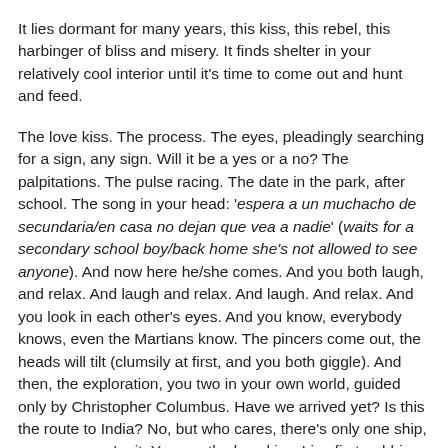It lies dormant for many years, this kiss, this rebel, this harbinger of bliss and misery. It finds shelter in your relatively cool interior until it's time to come out and hunt and feed.
The love kiss. The process. The eyes, pleadingly searching for a sign, any sign. Will it be a yes or a no? The palpitations. The pulse racing. The date in the park, after school. The song in your head: 'espera a un muchacho de secundaria/en casa no dejan que vea a nadie' (waits for a secondary school boy/back home she's not allowed to see anyone). And now here he/she comes. And you both laugh, and relax. And laugh and relax. And laugh. And relax. And you look in each other's eyes. And you know, everybody knows, even the Martians know. The pincers come out, the heads will tilt (clumsily at first, and you both giggle). And then, the exploration, you two in your own world, guided only by Christopher Columbus. Have we arrived yet? Is this the route to India? No, but who cares, there's only one ship, one crew, you're it. You are the love kiss. Lips first, rubbing,